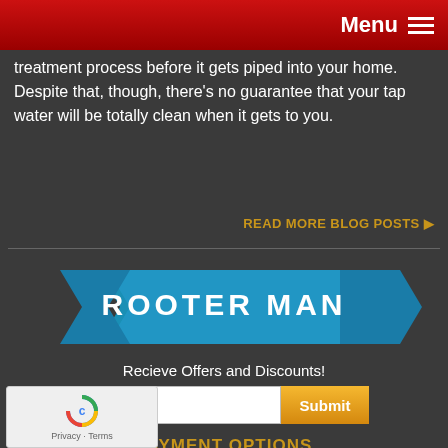Menu
treatment process before it gets piped into your home. Despite that, though, there's no guarantee that your tap water will be totally clean when it gets to you.
READ MORE BLOG POSTS ▶
[Figure (logo): Rooter Man logo on blue ribbon banner]
Recieve Offers and Discounts!
Email | Submit
PAYMENT OPTIONS
We accept the following payment types:
[Figure (other): Payment type badges: VISA, Mastercard, DISCOVER, CASH, CHECK]
[Figure (other): reCAPTCHA widget with Privacy and Terms links]